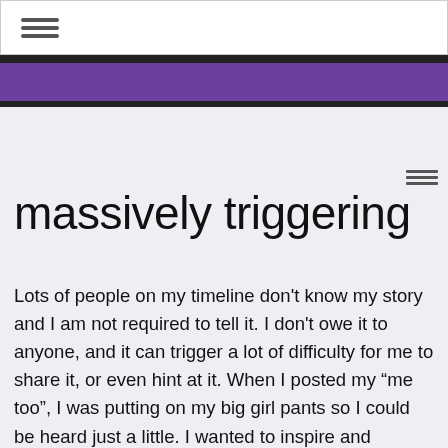massively triggering
Lots of people on my timeline don't know my story and I am not required to tell it. I don't owe it to anyone, and it can trigger a lot of difficulty for me to share it, or even hint at it. When I posted my “me too”, I was putting on my big girl pants so I could be heard just a little. I wanted to inspire and empower others. I wasn't really prepared for the mixed response. Lots of solidarity and expected out-pouring yes, but so much pain I wasn't prepared for. So much triggering of people who